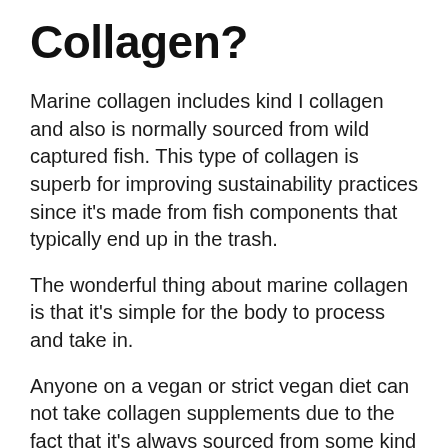Collagen?
Marine collagen includes kind I collagen and also is normally sourced from wild captured fish. This type of collagen is superb for improving sustainability practices since it’s made from fish components that typically end up in the trash.
The wonderful thing about marine collagen is that it’s simple for the body to process and take in.
Anyone on a vegan or strict vegan diet can not take collagen supplements due to the fact that it’s always sourced from some kind of animal item.